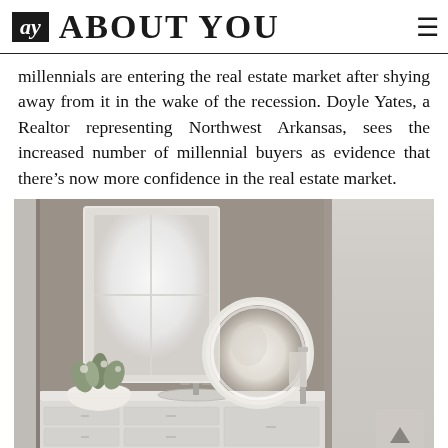ay ABOUT YOU
millennials are entering the real estate market after shying away from it in the wake of the recession. Doyle Yates, a Realtor representing Northwest Arkansas, sees the increased number of millennial buyers as evidence that there’s now more confidence in the real estate market.
[Figure (photo): Interior bathroom photo showing a white-framed rectangular window mirror on a gray wall, a round illuminated vanity mirror, a white vessel bowl with a plant, a white countertop with sink and faucet, and white cabinet drawers below. A blurred white/light gray area is visible on the right side.]